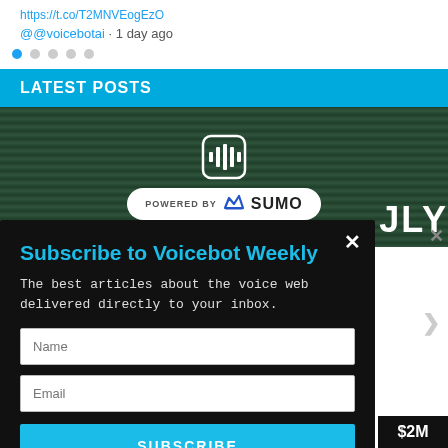https://t.co/T2MNVEogEzO
@@voicebotai · 1 day ago
[Figure (other): Pagination dots, first dot active (blue)]
LATEST POSTS
[Figure (other): Dark curtain background image with Sumo audio icon and 'POWERED BY SUMO' badge]
Subscribe to Voicebot Weekly
The best articles about the voice web delivered directly to your inbox.
Name
Email
SUBSCRIBE
×
JLY
$2M